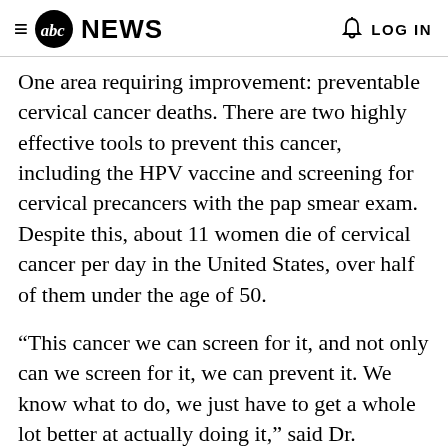abc NEWS   LOG IN
One area requiring improvement: preventable cervical cancer deaths. There are two highly effective tools to prevent this cancer, including the HPV vaccine and screening for cervical precancers with the pap smear exam. Despite this, about 11 women die of cervical cancer per day in the United States, over half of them under the age of 50.
“This cancer we can screen for it, and not only can we screen for it, we can prevent it. We know what to do, we just have to get a whole lot better at actually doing it,” said Dr. Deborah Schrag, chief of population sciences at Dana-Farber Cancer Institute and a